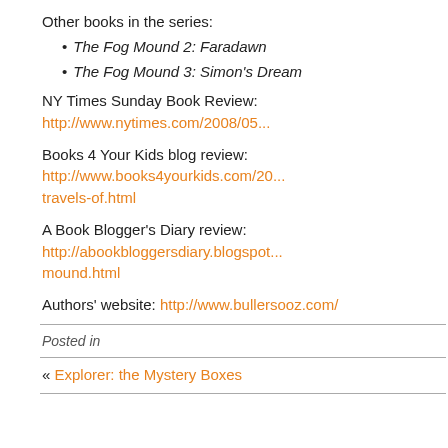Other books in the series:
The Fog Mound 2: Faradawn
The Fog Mound 3: Simon's Dream
NY Times Sunday Book Review: http://www.nytimes.com/2008/05...
Books 4 Your Kids blog review: http://www.books4yourkids.com/20... travels-of.html
A Book Blogger's Diary review: http://abookbloggersdiary.blogspot... mound.html
Authors' website: http://www.bullersooz.com/
Posted in
« Explorer: the Mystery Boxes